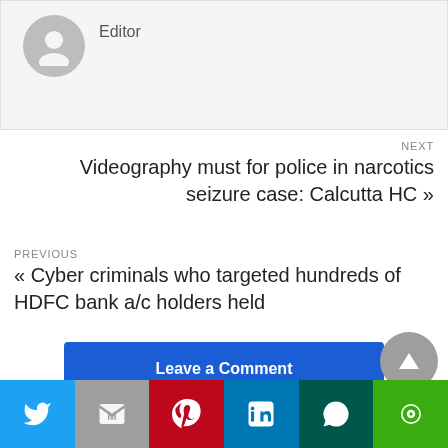[Figure (illustration): Author avatar placeholder - grey circle with person silhouette icon]
Editor
NEXT
Videography must for police in narcotics seizure case: Calcutta HC »
PREVIOUS
« Cyber criminals who targeted hundreds of HDFC bank a/c holders held
Leave a Comment
[Figure (infographic): Scroll-to-top button: grey circle with upward pointing triangle]
[Figure (infographic): Social share bar with Twitter, Gmail, Pinterest, LinkedIn, WhatsApp, Line icons]